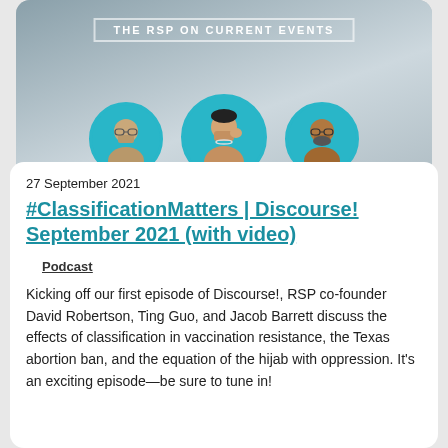[Figure (photo): Banner image with text 'THE RSP ON CURRENT EVENTS' and three circular avatar photos of podcast guests on a teal/gray background]
27 September 2021
#ClassificationMatters | Discourse! September 2021 (with video)
Podcast
Kicking off our first episode of Discourse!, RSP co-founder David Robertson, Ting Guo, and Jacob Barrett discuss the effects of classification in vaccination resistance, the Texas abortion ban, and the equation of the hijab with oppression. It's an exciting episode—be sure to tune in!